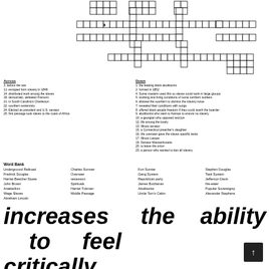[Figure (other): Partial crossword puzzle grid with numbered squares, shown at the top of the page]
Across
3. before the war
11. escaped from slavery in 1849
14. distributed work among the slaves
18. democrat, defeated Fremont
21. in South Carolina's Charleston
22. southern extremists
24. Elected as president and U.S. senator
25. first passage took slaves to the coast of Africa
Down
1. the leading black abolitionist
2. formed in 1852
4. Some masters used this so slaves could work in large groups
5. working and living conditions of some northern workers
6. allowed the southern to dismiss the slavery issue
7. revealed their conditions with songs
8. offered black people freedom if they could reach the boarder
9. abolitionist who went to Kansas to ensure no slavery
10. a georgian who opposed seccion
12. life among the lovely
13. Illinois senator
15. a Connecticut preacher's daughter
16. the overseer gave the slaves specific tasks
17. Illinois Lawyer
19. Senator Massachusetts
20. to leave the union
23. a person who wanted to ban all slavery
Word Bank
Underground Railroad
Fredrick Douglas
Harriet Beecher Stowe
John Brown
Antebellum
Wage Slaves
Abraham Lincoln
Charles Sumner
Overseer
secession
Spirituals
Harriet Tubman
Middle Passage
Fort Sumter
Gang System
Republican party
James Buchanan
Abolitionist
Uncle Tom's Cabin
Stephen Douglas
Task System
Jefferson Davis
fire-eater
Popular Sovereignty
Alexander Stephens
increases    the    ability    to    feel
critically